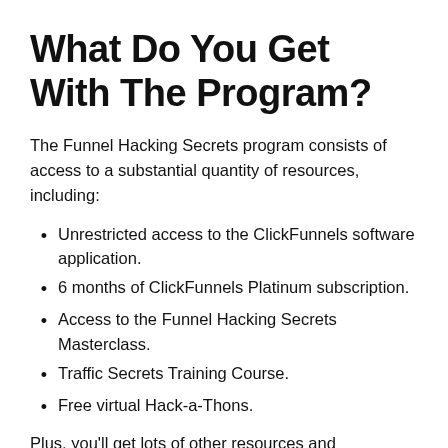What Do You Get With The Program?
The Funnel Hacking Secrets program consists of access to a substantial quantity of resources, including:
Unrestricted access to the ClickFunnels software application.
6 months of ClickFunnels Platinum subscription.
Access to the Funnel Hacking Secrets Masterclass.
Traffic Secrets Training Course.
Free virtual Hack-a-Thons.
Plus, you'll get lots of other resources and